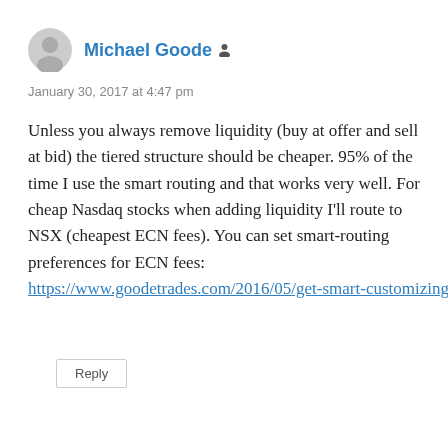Michael Goode
January 30, 2017 at 4:47 pm
Unless you always remove liquidity (buy at offer and sell at bid) the tiered structure should be cheaper. 95% of the time I use the smart routing and that works very well. For cheap Nasdaq stocks when adding liquidity I'll route to NSX (cheapest ECN fees). You can set smart-routing preferences for ECN fees: https://www.goodetrades.com/2016/05/get-smart-customizing-interactive-brokers-smart-routing/
Reply